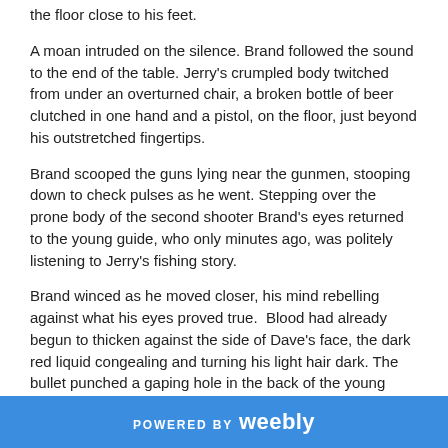the floor close to his feet.
A moan intruded on the silence. Brand followed the sound to the end of the table. Jerry’s crumpled body twitched from under an overturned chair, a broken bottle of beer clutched in one hand and a pistol, on the floor, just beyond his outstretched fingertips.
Brand scooped the guns lying near the gunmen, stooping down to check pulses as he went. Stepping over the prone body of the second shooter Brand’s eyes returned to the young guide, who only minutes ago, was politely listening to Jerry’s fishing story.
Brand winced as he moved closer, his mind rebelling against what his eyes proved true.  Blood had already begun to thicken against the side of Dave’s face, the dark red liquid congealing and turning his light hair dark. The bullet punched a gaping hole in the back of the young guide’s skull quickly ending his life.
POWERED BY weebly